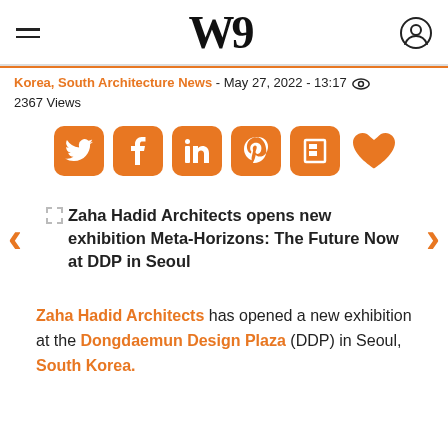W [logo] — hamburger menu and user icon
Korea, South Architecture News - May 27, 2022 - 13:17  2367 Views
[Figure (infographic): Row of orange social media share icons: Twitter, Facebook, LinkedIn, Pinterest, Flipboard, and a heart (like) button]
[Figure (photo): Zaha Hadid Architects opens new exhibition Meta-Horizons: The Future Now at DDP in Seoul — image with prev/next navigation arrows]
Zaha Hadid Architects has opened a new exhibition at the Dongdaemun Design Plaza (DDP) in Seoul, South Korea.